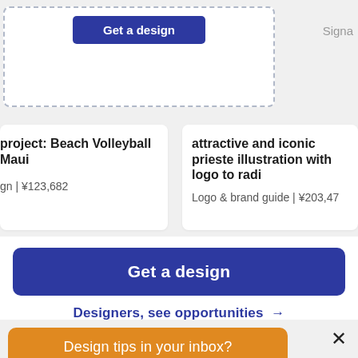[Figure (screenshot): Top partial UI card with dashed border containing a blue 'Get a design' button and partial 'Signa' text on right]
project: Beach Volleyball Maui
gn | ¥123,682
attractive and iconic prieste illustration with logo to radi
Logo & brand guide | ¥203,47
Get a design
Designers, see opportunities →
Design tips in your inbox?